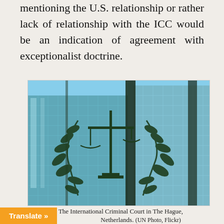mentioning the U.S. relationship or rather lack of relationship with the ICC would be an indication of agreement with exceptionalist doctrine.
[Figure (photo): Photograph of the International Criminal Court building in The Hague, Netherlands, showing a glass facade with the ICC emblem (scales of justice with olive branches) in the foreground.]
The International Criminal Court in The Hague, Netherlands. (UN Photo, Flickr)